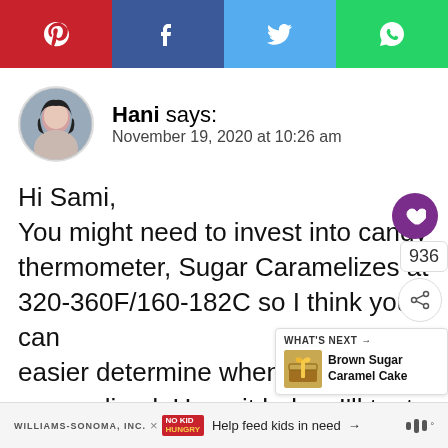[Figure (other): Social media share bar with Pinterest (red), Facebook (dark blue), Twitter (light blue), WhatsApp (green) buttons]
Hani says:
November 19, 2020 at 10:26 am
Hi Sami,
You might need to invest into candy thermometer, Sugar Caramelizes at 320-360F/160-182C so I think you can easier determine when it's caramelized. Hope it helps. I'll try to do some testing on raw sugar in the near
[Figure (other): What's Next widget showing Brown Sugar Caramel Cake with a gift bag image]
WILLIAMS-SONOMA, INC. × NO KID HUNGRY  Help feed kids in need →